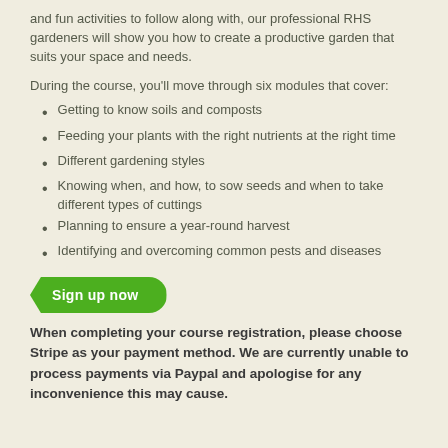and fun activities to follow along with, our professional RHS gardeners will show you how to create a productive garden that suits your space and needs.
During the course, you'll move through six modules that cover:
Getting to know soils and composts
Feeding your plants with the right nutrients at the right time
Different gardening styles
Knowing when, and how, to sow seeds and when to take different types of cuttings
Planning to ensure a year-round harvest
Identifying and overcoming common pests and diseases
[Figure (other): Green arrow-shaped 'Sign up now' button]
When completing your course registration, please choose Stripe as your payment method. We are currently unable to process payments via Paypal and apologise for any inconvenience this may cause.